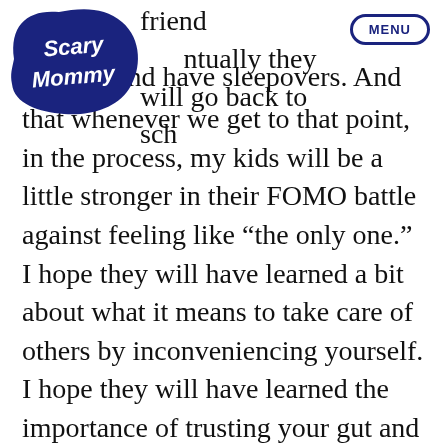[Figure (logo): Scary Mommy logo — dark navy blue illustrated blob shape with handwritten-style text 'Scary Mommy']
MENU
friends. Eventually they will go back to school and have sleepovers. And that whenever we get to that point, in the process, my kids will be a little stronger in their FOMO battle against feeling like “the only one.” I hope they will have learned a bit about what it means to take care of others by inconveniencing yourself. I hope they will have learned the importance of trusting your gut and making hard decisions. Because the pandemic will eventually end, but god willing, those lessons will be here to stay. ●